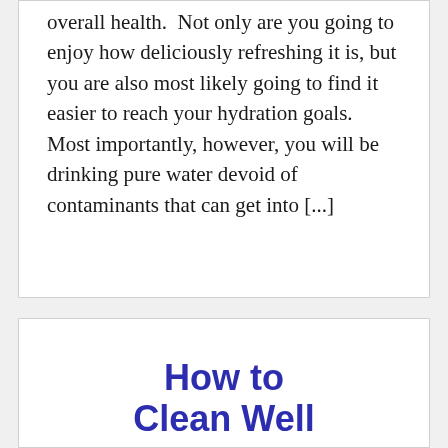overall health.  Not only are you going to enjoy how deliciously refreshing it is, but you are also most likely going to find it easier to reach your hydration goals.  Most importantly, however, you will be drinking pure water devoid of contaminants that can get into [...]
How to Clean Well